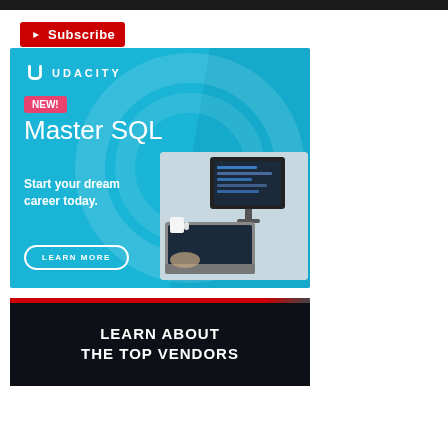[Figure (screenshot): Black top navigation bar]
[Figure (logo): YouTube Subscribe button with red background and play icon]
[Figure (infographic): Udacity advertisement banner with light blue background showing Udacity logo, NEW! badge, Master SQL heading, Start your dream career today text, LEARN MORE button, and photo of person working at computer]
[Figure (infographic): Dark advertisement banner with red top bar and white text reading LEARN ABOUT THE TOP VENDORS]